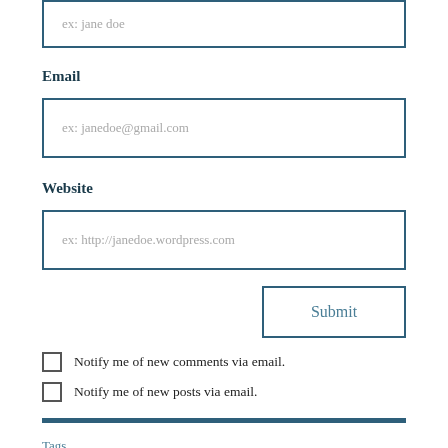ex: jane doe
Email
ex: janedoe@gmail.com
Website
ex: http://janedoe.wordpress.com
Submit
Notify me of new comments via email.
Notify me of new posts via email.
Tags